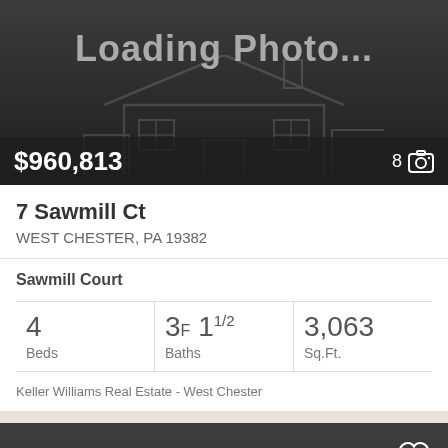[Figure (photo): Loading photo placeholder with dark background and faint house outline watermark. Shows 'Loading Photo...' text.]
$960,813
8
7 Sawmill Ct
WEST CHESTER, PA 19382
Sawmill Court
4 Beds
3F 11/2 Baths
3,063 Sq.Ft.
Keller Williams Real Estate - West Chester
[Figure (photo): Second listing card with dark background, heart/favorite icon in top right, wheelchair accessibility icon in bottom left, and faint house outline watermark.]